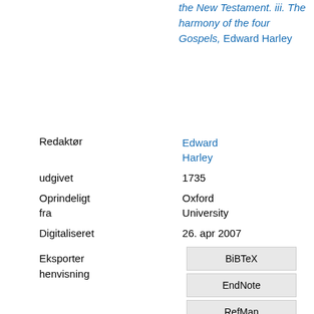the New Testament. iii. The harmony of the four Gospels, Edward Harley
| Field | Value |
| --- | --- |
| Redaktør | Edward Harley |
| udgivet | 1735 |
| Oprindeligt fra | Oxford University |
| Digitaliseret | 26. apr 2007 |
Eksporter henvisning
BiBTeX
EndNote
RefMan